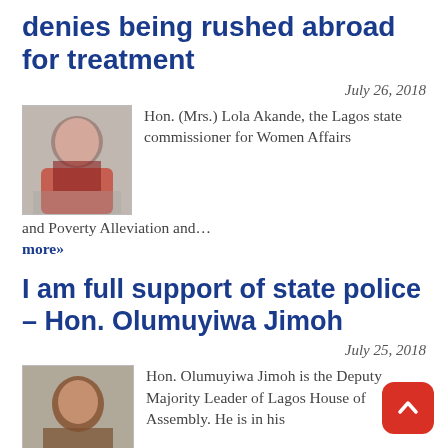denies being rushed abroad for treatment
July 26, 2018
[Figure (photo): Photo of Hon. (Mrs.) Lola Akande speaking at a podium]
Hon. (Mrs.) Lola Akande, the Lagos state commissioner for Women Affairs and Poverty Alleviation and...
more»
I am full support of state police – Hon. Olumuyiwa Jimoh
July 25, 2018
[Figure (photo): Photo of Hon. Olumuyiwa Jimoh]
Hon. Olumuyiwa Jimoh is the Deputy Majority Leader of Lagos House of Assembly. He is in his